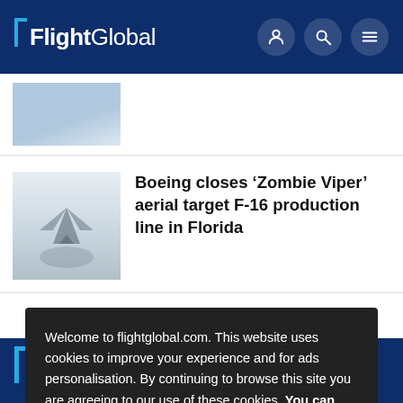FlightGlobal
[Figure (photo): Partial article thumbnail image showing a light blue/grey sky scene]
Boeing closes ‘Zombie Viper’ aerial target F-16 production line in Florida
[Figure (photo): Thumbnail showing an aircraft silhouette against a hazy sky]
Welcome to flightglobal.com. This website uses cookies to improve your experience and for ads personalisation. By continuing to browse this site you are agreeing to our use of these cookies. You can learn more about the cookies we use here.
OK
FlightGlobal